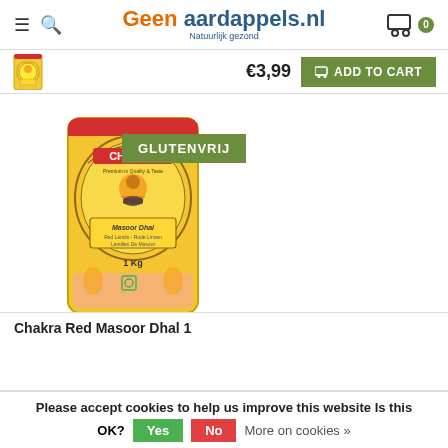Geen aardappels.nl — Natuurlijk gezond
[Figure (screenshot): Small thumbnail of Chakra Red Masoor Dhal product bag in the cart/price bar]
€3,99
ADD TO CART
[Figure (photo): Chakra Red Masoor Dhal 1kg product bag with a green 'GLUTENVRIJ' badge overlaid on the top-left of the bag. The bag shows the Chakra brand label with an illustration of a woman cooking, yellow/orange design, pink lentils visible through the packaging.]
Chakra Red Masoor Dhal  1
Please accept cookies to help us improve this website Is this OK? Yes No More on cookies »